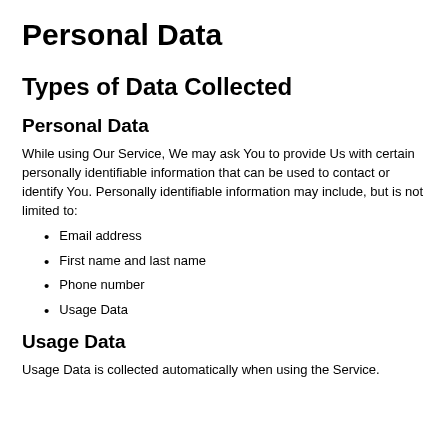Personal Data
Types of Data Collected
Personal Data
While using Our Service, We may ask You to provide Us with certain personally identifiable information that can be used to contact or identify You. Personally identifiable information may include, but is not limited to:
Email address
First name and last name
Phone number
Usage Data
Usage Data
Usage Data is collected automatically when using the Service.